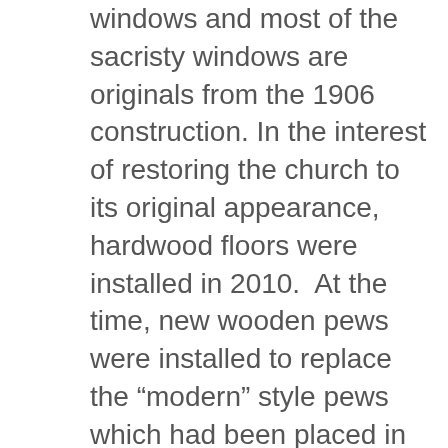windows and most of the sacristy windows are originals from the 1906 construction. In the interest of restoring the church to its original appearance, hardwood floors were installed in 2010.  At the time, new wooden pews were installed to replace the “modern” style pews which had been placed in the church around 1990. For over 100 years the church has been the gathering place for parishioners of St. Boniface. The bells, placed in the steeple in 1906, are still tolled by hand today and ring out across the community every